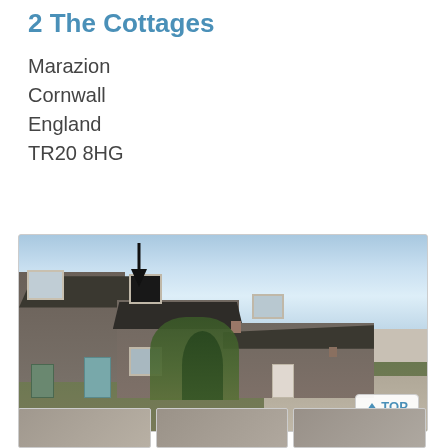2 The Cottages
Marazion
Cornwall
England
TR20 8HG
[Figure (photo): Photograph of a row of stone cottages in Marazion, Cornwall, England. A black arrow points down toward a chimney on the main cottage. The cottage has a blue door and stone walls. Lush greenery and palm-like plants are visible in the front garden. A road runs along the right side. A 'TOP' button overlay appears in the bottom right corner of the image.]
[Figure (photo): Thumbnail images of additional property photos at bottom of page (partially visible)]